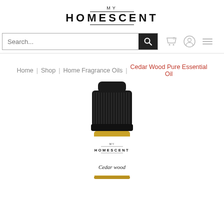MY HOMESCENT
Search...
Home | Shop | Home Fragrance Oils | Cedar Wood Pure Essential Oil
[Figure (photo): A small dropper bottle of cedar wood pure essential oil with a black cap and white label showing MY HOMESCENT branding and cursive text reading Cedar wood]